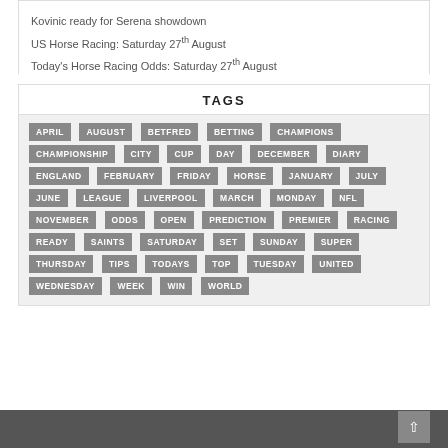Kovinic ready for Serena showdown
US Horse Racing: Saturday 27th August
Today's Horse Racing Odds: Saturday 27th August
TAGS
APRIL AUGUST BETFRED BETTING CHAMPIONS CHAMPIONSHIP CITY CUP DAY DECEMBER DIARY ENGLAND FEBRUARY FRIDAY HORSE JANUARY JULY JUNE LEAGUE LIVERPOOL MARCH MONDAY NFL NOVEMBER ODDS OPEN PREDICTION PREMIER RACING READY SAINTS SATURDAY SET SUNDAY SUPER THURSDAY TIPS TODAYS TOP TUESDAY UNITED WEDNESDAY WEEK WIN WORLD